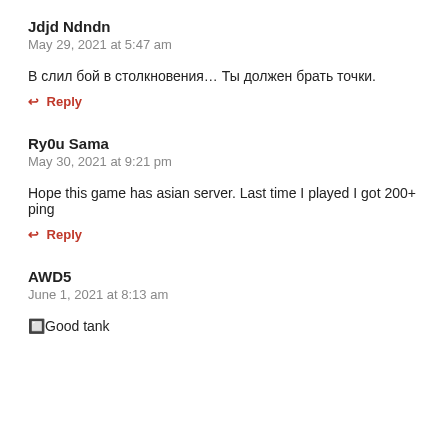Jdjd Ndndn
May 29, 2021 at 5:47 am
В слил бой в столкновения…  Ты должен брать точки.
↩ Reply
Ry0u Sama
May 30, 2021 at 9:21 pm
Hope this game has asian server. Last time I played I got 200+ ping
↩ Reply
AWD5
June 1, 2021 at 8:13 am
🔲Good tank